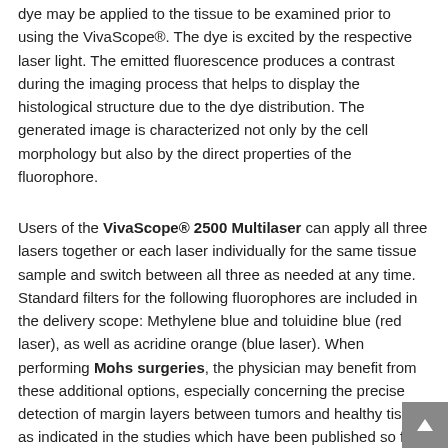dye may be applied to the tissue to be examined prior to using the VivaScope®. The dye is excited by the respective laser light. The emitted fluorescence produces a contrast during the imaging process that helps to display the histological structure due to the dye distribution. The generated image is characterized not only by the cell morphology but also by the direct properties of the fluorophore.
Users of the VivaScope® 2500 Multilaser can apply all three lasers together or each laser individually for the same tissue sample and switch between all three as needed at any time. Standard filters for the following fluorophores are included in the delivery scope: Methylene blue and toluidine blue (red laser), as well as acridine orange (blue laser). When performing Mohs surgeries, the physician may benefit from these additional options, especially concerning the precise detection of margin layers between tumors and healthy tissue, as indicated in the studies which have been published so far.
VivaScope® 2500 Multilaser Technical Data